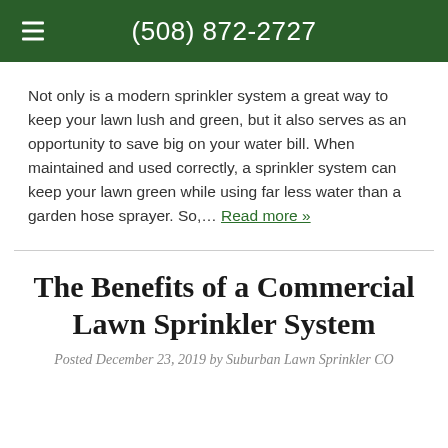(508) 872-2727
Not only is a modern sprinkler system a great way to keep your lawn lush and green, but it also serves as an opportunity to save big on your water bill. When maintained and used correctly, a sprinkler system can keep your lawn green while using far less water than a garden hose sprayer. So,… Read more »
The Benefits of a Commercial Lawn Sprinkler System
Posted December 23, 2019 by Suburban Lawn Sprinkler CO